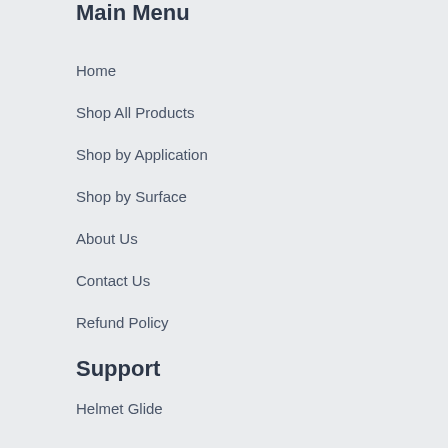Main Menu
Home
Shop All Products
Shop by Application
Shop by Surface
About Us
Contact Us
Refund Policy
Support
Helmet Glide
Privacy Policy
Terms of Service
Warranty Information
Glass After-Care